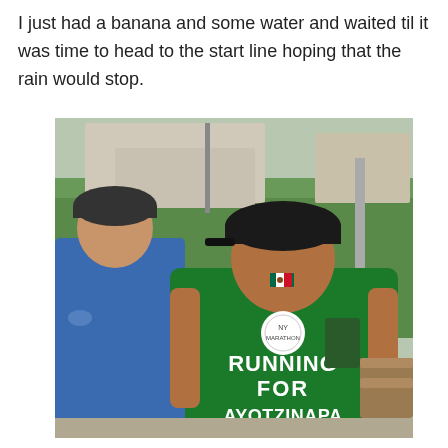I just had a banana and some water and waited til it was time to head to the start line hoping that the rain would stop.
[Figure (photo): A person seen from behind wearing a green sleeveless athletic jersey that reads 'RUNNING FOR AYOTZINAPA' in white letters, with a Mexican flag patch near the collar and a white circular logo on the back. They are wearing a dark baseball cap. To the left is another person in a blue Nike shirt and dark cap. Background shows trees, patio umbrellas, and outdoor furniture.]